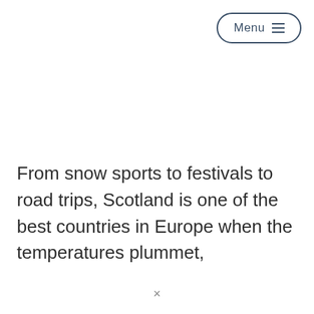Menu ≡
From snow sports to festivals to road trips, Scotland is one of the best countries in Europe when the temperatures plummet,